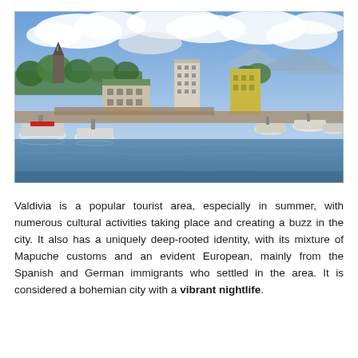[Figure (photo): Aerial/elevated view of Valdivia city waterfront with boats docked along a river, buildings including a church spire and multi-story structures, trees, and a partly cloudy sky.]
Valdivia is a popular tourist area, especially in summer, with numerous cultural activities taking place and creating a buzz in the city. It also has a uniquely deep-rooted identity, with its mixture of Mapuche customs and an evident European, mainly from the Spanish and German immigrants who settled in the area. It is considered a bohemian city with a vibrant nightlife.